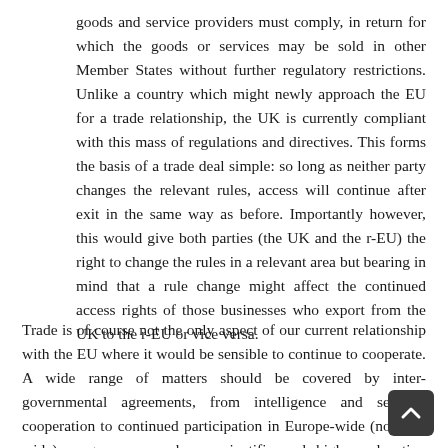goods and service providers must comply, in return for which the goods or services may be sold in other Member States without further regulatory restrictions. Unlike a country which might newly approach the EU for a trade relationship, the UK is currently compliant with this mass of regulations and directives. This forms the basis of a trade deal simple: so long as neither party changes the relevant rules, access will continue after exit in the same way as before. Importantly however, this would give both parties (the UK and the r-EU) the right to change the rules in a relevant area but bearing in mind that a rule change might affect the continued access rights of those businesses who export from the UK to the r-EU or vice versa.
Trade is of course not the only aspect of our current relationship with the EU where it would be sensible to continue to cooperate. A wide range of matters should be covered by inter-governmental agreements, from intelligence and security cooperation to continued participation in Europe-wide (not EU-wide) programmes such as scientific and higher education research and student exchange programmes. Such continued mutually beneficial cooperation in